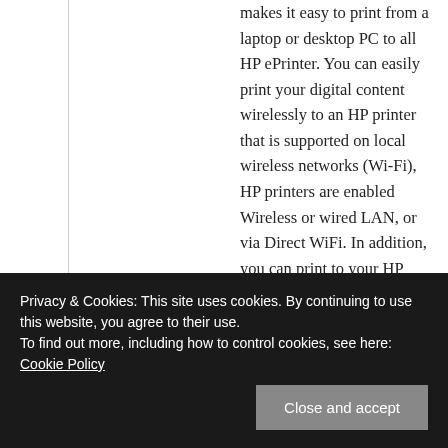makes it easy to print from a laptop or desktop PC to all HP ePrinter. You can easily print your digital content wirelessly to an HP printer that is supported on local wireless networks (Wi-Fi), HP printers are enabled Wireless or wired LAN, or via Direct WiFi. In addition, you can print to your HP ePrint-enabled printer through the cloud at office, home, or on the
Privacy & Cookies: This site uses cookies. By continuing to use this website, you agree to their use. To find out more, including how to control cookies, see here: Cookie Policy
Close and accept
around the world